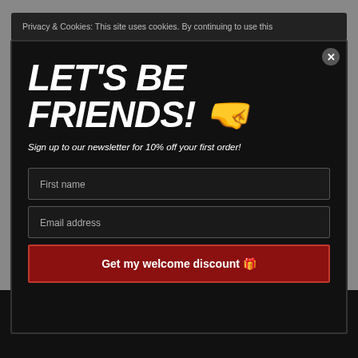Privacy & Cookies: This site uses cookies. By continuing to use this
LET'S BE FRIENDS! 🤜
Sign up to our newsletter for 10% off your first order!
First name
Email address
Get my welcome discount 🎁